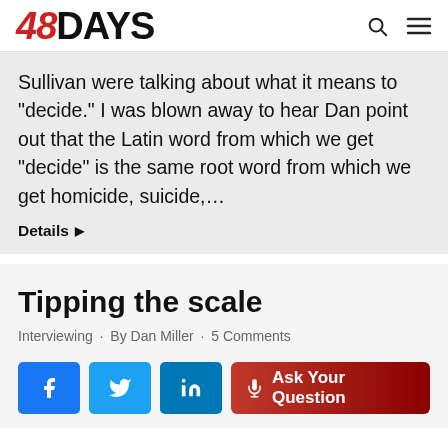48DAYS
Sullivan were talking about what it means to "decide." I was blown away to hear Dan point out that the Latin word from which we get "decide" is the same root word from which we get homicide, suicide,...
Details ▶
Tipping the scale
Interviewing · By Dan Miller · 5 Comments